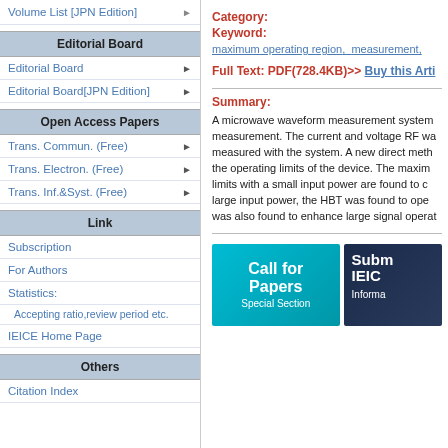Volume List [JPN Edition]
Editorial Board
Editorial Board
Editorial Board[JPN Edition]
Open Access Papers
Trans. Commun. (Free)
Trans. Electron. (Free)
Trans. Inf.&Syst. (Free)
Link
Subscription
For Authors
Statistics:
Accepting ratio,review period etc.
IEICE Home Page
Others
Citation Index
Category:
Keyword:
maximum operating region, measurement,
Full Text: PDF(728.4KB)>> Buy this Arti
Summary:
A microwave waveform measurement system measurement. The current and voltage RF wa measured with the system. A new direct meth the operating limits of the device. The maxim limits with a small input power are found to c large input power, the HBT was found to ope was also found to enhance large signal operat
[Figure (infographic): Two promotional banners: 'Call for Papers Special Section' on teal background and 'Subm IEIC Informa' on dark navy background]